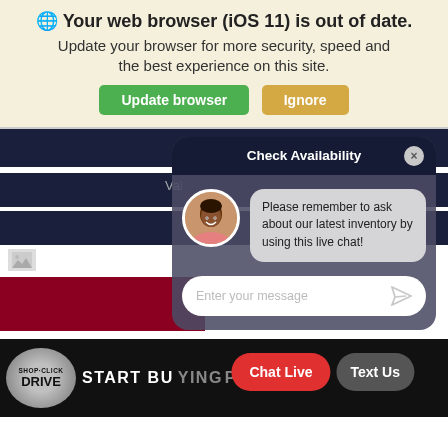🌐 Your web browser (iOS 11) is out of date. Update your browser for more security, speed and the best experience on this site.
Update browser | Ignore
[Figure (screenshot): Screenshot of a dealership website showing a 'Check Availability' modal with a live chat overlay. The chat shows a message: 'Please remember to ask about our latest inventory by using this live chat!' with a message input field. Background shows dark navy navigation bars, a red section, and a Shop-Click-Drive banner. Buttons read 'Chat Live' and 'Text Us'.]
What's My Car Worth? Contact Search